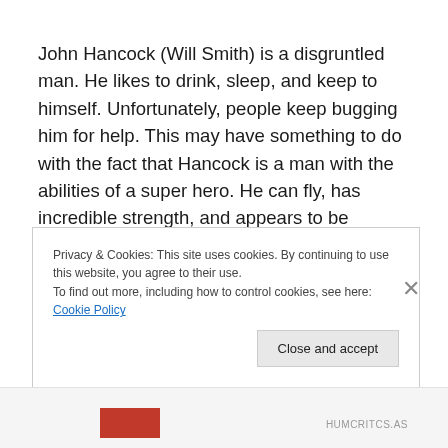John Hancock (Will Smith) is a disgruntled man. He likes to drink, sleep, and keep to himself. Unfortunately, people keep bugging him for help. This may have something to do with the fact that Hancock is a man with the abilities of a super hero. He can fly, has incredible strength, and appears to be physically impervious, but that doesn't stop criminals from emptying their guns at him. One gang learns firsthand the anger of Hancock when they destroy
Privacy & Cookies: This site uses cookies. By continuing to use this website, you agree to their use.
To find out more, including how to control cookies, see here: Cookie Policy
Close and accept